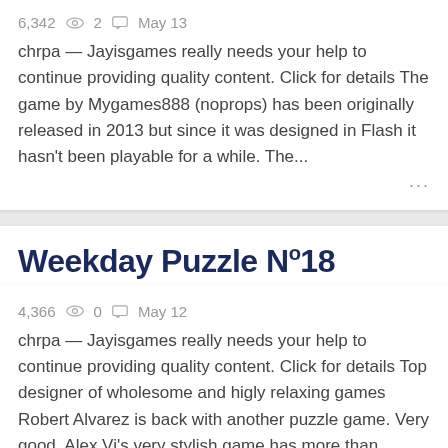6,342  👁  2  🗨  May 13
chrpa — Jayisgames really needs your help to continue providing quality content. Click for details The game by Mygames888 (noprops) has been originally released in 2013 but since it was designed in Flash it hasn't been playable for a while. The...
Weekday Puzzle Nº18
4,366  👁  0  🗨  May 12
chrpa — Jayisgames really needs your help to continue providing quality content. Click for details Top designer of wholesome and higly relaxing games Robert Alvarez is back with another puzzle game. Very good. Alex Vi's very stylish game has more than